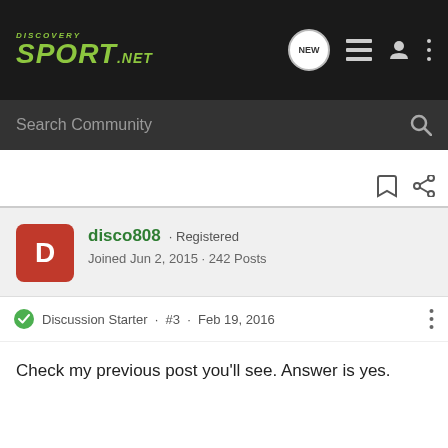DISCOVERY SPORT.NET
Search Community
disco808 · Registered
Joined Jun 2, 2015 · 242 Posts
Discussion Starter · #3 · Feb 19, 2016
Check my previous post you'll see. Answer is yes.